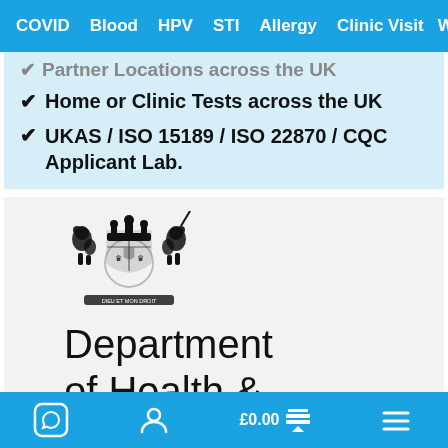COVID  Blood  HPV  STI  Allergy  Clinic Visit  W
Partner Locations across the UK
Home or Clinic Tests across the UK
UKAS / ISO 15189 / ISO 22870 / CQC Applicant Lab.
[Figure (logo): UK Government Royal Coat of Arms above text reading Department of Health & Social Care]
WhatsApp icon  Account icon  £0.00 cart  Menu icon